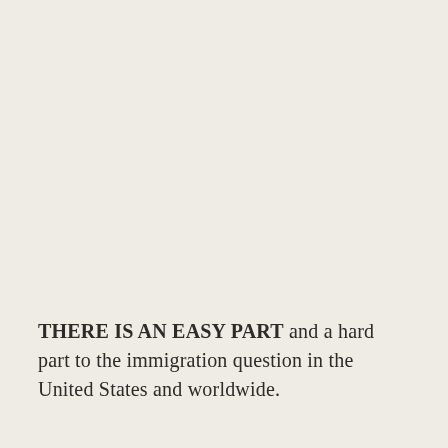THERE IS AN EASY PART and a hard part to the immigration question in the United States and worldwide.